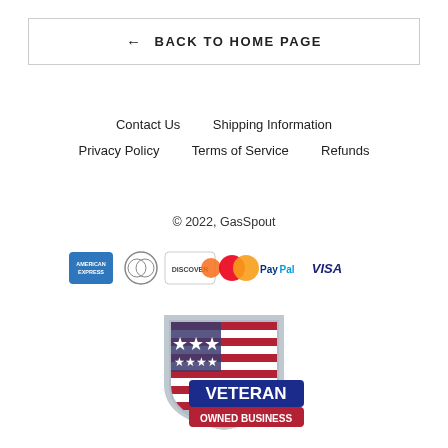← BACK TO HOME PAGE
Contact Us   Shipping Information   Privacy Policy   Terms of Service   Refunds
© 2022, GasSpout
[Figure (logo): Payment method logos: American Express, Diners Club, Discover, MasterCard, PayPal, Visa]
[Figure (logo): Veteran Owned Business badge with US flag shield and blue/red banner]